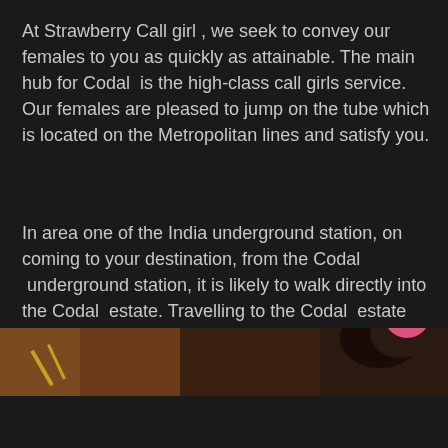At Strawberry Call girl , we seek to convey our females to you as quickly as attainable. The main hub for Codal  is the high-class call girls service. Our females are pleased to jump on the tube which is located on the Metropolitan lines and satisfy you.
In area one of the India underground station, on coming to your destination, from the Codal  underground station, it is likely to walk directly into the Codal  estate. Travelling to the Codal  estate by cab is also a choice for our call girls, but can be difficult as it is not straightforward to see your way approximately. It loves a maze near Codal  and we strive to never be late for your meeting.
[Figure (photo): Partial image strip showing a dark-toned photo at the bottom of the page, with a pink circular scroll-to-top button overlaid on the right side.]